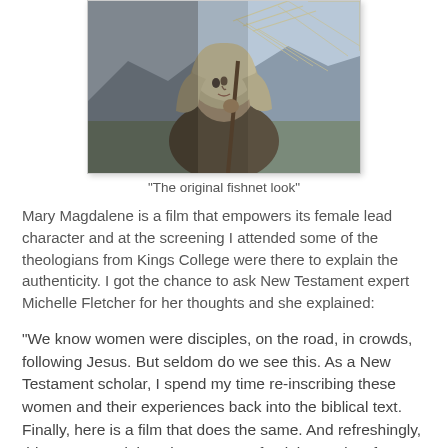[Figure (photo): A woman wearing a grey head covering/wrap, holding a fishing net, with mountains in the background. Film still from Mary Magdalene.]
"The original fishnet look"
Mary Magdalene is a film that empowers its female lead character and at the screening I attended some of the theologians from Kings College were there to explain the authenticity. I got the chance to ask New Testament expert Michelle Fletcher for her thoughts and she explained:
“We know women were disciples, on the road, in crowds, following Jesus. But seldom do we see this. As a New Testament scholar, I spend my time re-inscribing these women and their experiences back into the biblical text. Finally, here is a film that does the same. And refreshingly, this Mary Magdalene is not a post-feminist product for us to consume, but rather a window into another world. She allows